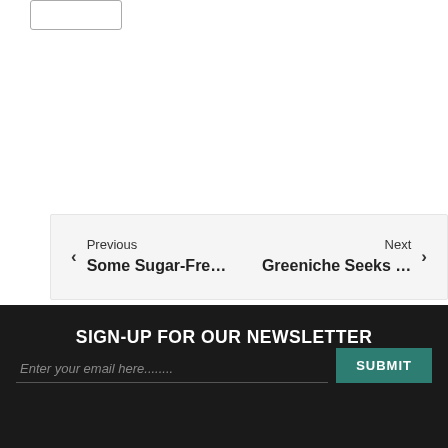[Figure (other): Partial button stub visible at top left, clipped from above]
Previous
Some Sugar-Fre...
Next
Greeniche Seeks …
SIGN-UP FOR OUR NEWSLETTER
Enter your email here........
SUBMIT